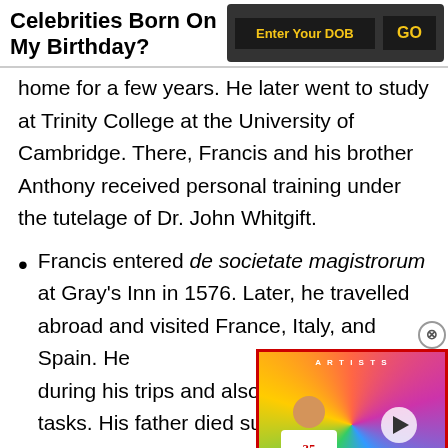Celebrities Born On My Birthday?
home for a few years. He later went to study at Trinity College at the University of Cambridge. There, Francis and his brother Anthony received personal training under the tutelage of Dr. John Whitgift.
Francis entered de societate magistrorum at Gray's Inn in 1576. Later, he travelled abroad and visited France, Italy, and Spain. He [content continues] during his trips and also to[ok on diplomatic] tasks. His father died sudde[nly and he] had to return home.
[Figure (screenshot): Video overlay showing a music artist in a red-bordered player with a play button, ARTISTS label at top]